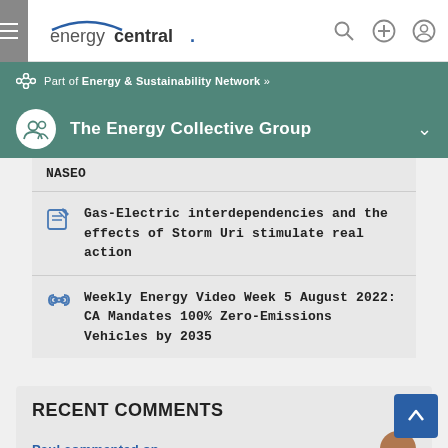energycentral.
Part of Energy & Sustainability Network »
The Energy Collective Group
NASEO
Gas-Electric interdependencies and the effects of Storm Uri stimulate real action
Weekly Energy Video Week 5 August 2022: CA Mandates 100% Zero-Emissions Vehicles by 2035
RECENT COMMENTS
Paul commented on ...